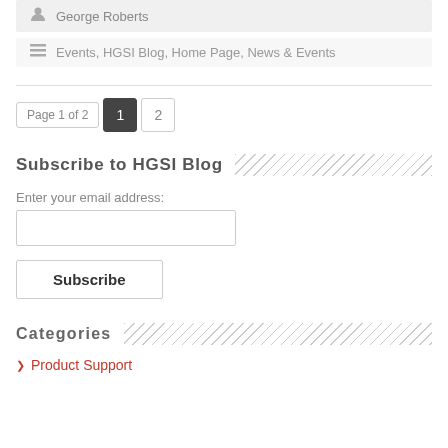George Roberts
Events, HGSI Blog, Home Page, News & Events
Page 1 of 2  1  2
Subscribe to HGSI Blog
Enter your email address:
Subscribe
Categories
Product Support